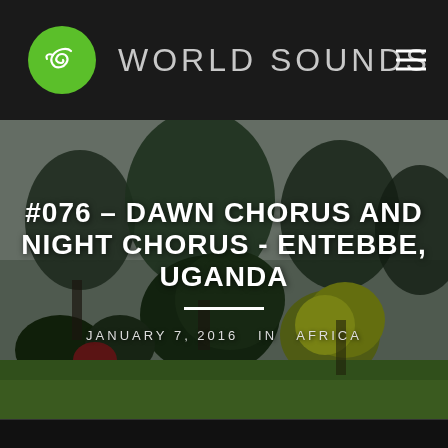WORLD SOUNDS
#076 – DAWN CHORUS AND NIGHT CHORUS - ENTEBBE, UGANDA
JANUARY 7, 2016  IN  AFRICA